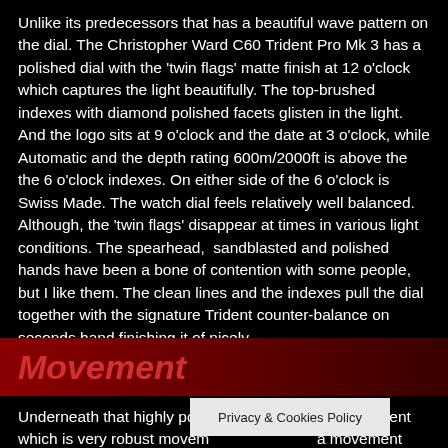Unlike its predecessors that has a beautiful wave pattern on the dial. The Christopher Ward C60 Trident Pro Mk 3 has a polished dial with the 'twin flags' matte finish at 12 o'clock which captures the light beautifully. The top-brushed indexes with diamond polished facets glisten in the light. And the logo sits at 9 o'clock and the date at 3 o'clock, while Automatic and the depth rating 600m/2000ft is above the the 6 o'clock indexes. On either side of the 6 o'clock is Swiss Made. The watch dial feels relatively well balanced. Although, the 'twin flags' disappear at times in various light conditions. The spearhead,  sandblasted and polished hands have been a bone of contention with some people, but I like them. The clean lines and the indexes pull the dial together with the signature Trident counter-balance on seconds hand finishing it of nicely.
Movement
Underneath that highly polished movement which is very robust movement a movement